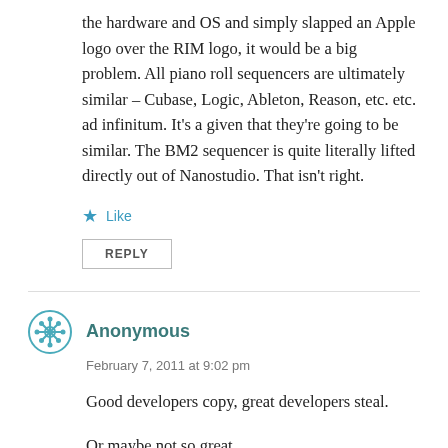the hardware and OS and simply slapped an Apple logo over the RIM logo, it would be a big problem. All piano roll sequencers are ultimately similar – Cubase, Logic, Ableton, Reason, etc. etc. ad infinitum. It's a given that they're going to be similar. The BM2 sequencer is quite literally lifted directly out of Nanostudio. That isn't right.
★ Like
REPLY
Anonymous
February 7, 2011 at 9:02 pm
Good developers copy, great developers steal.
Or maybe not so great.